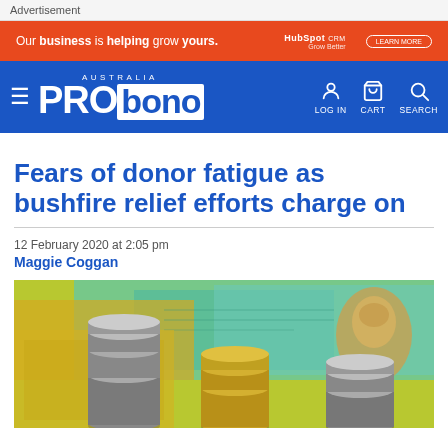Advertisement
[Figure (infographic): Orange HubSpot advertisement banner with text: Our business is helping grow yours.]
[Figure (logo): Pro Bono Australia website navigation bar with logo, hamburger menu, LOG IN, CART, and SEARCH icons on blue background]
Fears of donor fatigue as bushfire relief efforts charge on
12 February 2020 at 2:05 pm
Maggie Coggan
[Figure (photo): Close-up photograph of stacked Australian coins and banknotes]